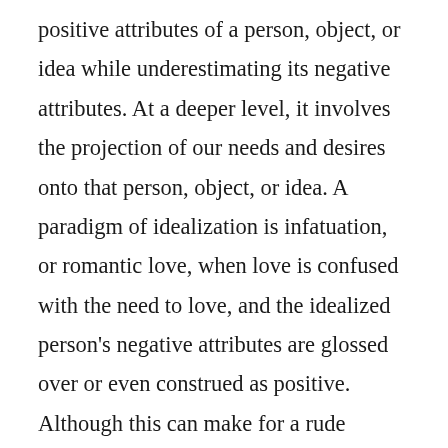positive attributes of a person, object, or idea while underestimating its negative attributes. At a deeper level, it involves the projection of our needs and desires onto that person, object, or idea. A paradigm of idealization is infatuation, or romantic love, when love is confused with the need to love, and the idealized person's negative attributes are glossed over or even construed as positive. Although this can make for a rude awakening, there are few better ways of relieving our existential anxiety than by manufacturing something that is 'perfect' for us, be it a piece of equipment, a place, country, person, or god.